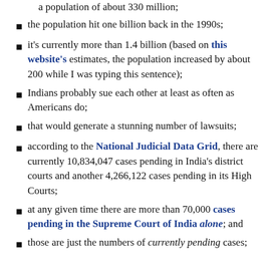a population of about 330 million;
the population hit one billion back in the 1990s;
it's currently more than 1.4 billion (based on this website's estimates, the population increased by about 200 while I was typing this sentence);
Indians probably sue each other at least as often as Americans do;
that would generate a stunning number of lawsuits;
according to the National Judicial Data Grid, there are currently 10,834,047 cases pending in India's district courts and another 4,266,122 cases pending in its High Courts;
at any given time there are more than 70,000 cases pending in the Supreme Court of India alone; and
those are just the numbers of currently pending cases;